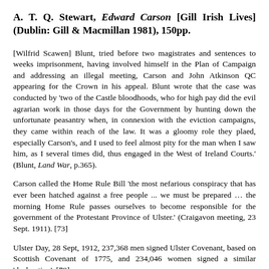A. T. Q. Stewart, Edward Carson [Gill Irish Lives] (Dublin: Gill & Macmillan 1981), 150pp.
[Wilfrid Scawen] Blunt, tried before two magistrates and sentences to weeks imprisonment, having involved himself in the Plan of Campaign and addressing an illegal meeting, Carson and John Atkinson QC appearing for the Crown in his appeal. Blunt wrote that the case was conducted by 'two of the Castle bloodhoods, who for high pay did the evil agrarian work in those days for the Government by hunting down the unfortunate peasantry when, in connexion with the eviction campaigns, they came within reach of the law. It was a gloomy role they plaed, especially Carson's, and I used to feel almost pity for the man when I saw him, as I several times did, thus engaged in the West of Ireland Courts.' (Blunt, Land War, p.365).
Carson called the Home Rule Bill 'the most nefarious conspiracy that has ever been hatched against a free people ... we must be prepared … the morning Home Rule passes ourselves to become responsible for the government of the Protestant Province of Ulster.' (Craigavon meeting, 23 Sept. 1911). [73]
Ulster Day, 28 Sept, 1912, 237,368 men signed Ulster Covenant, based on Scottish Covenant of 1775, and 234,046 women signed a similar 'declaration'. [78]
ATQ Stewart corrects misconceptions about gun-running: Larne,